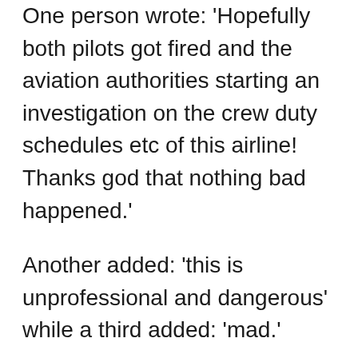One person wrote: 'Hopefully both pilots got fired and the aviation authorities starting an investigation on the crew duty schedules etc of this airline! Thanks god that nothing bad happened.'
Another added: 'this is unprofessional and dangerous' while a third added: 'mad.'
But not everyone agreed that the pilots should be fired, with one person arguing they could have been overworked and the company 'covered it up.'
And a separate person was unsurprised by the